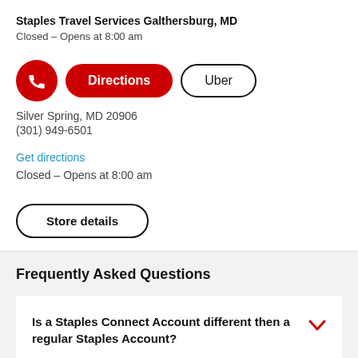Staples Travel Services Galthersburg, MD
Closed - Opens at 8:00 am
[Figure (screenshot): Action buttons: red phone icon button, red Directions button, white Uber button]
Silver Spring, MD 20906
(301) 949-6501
Get directions
Closed - Opens at 8:00 am
Store details
Frequently Asked Questions
Is a Staples Connect Account different then a regular Staples Account?
Where can I find additional information on